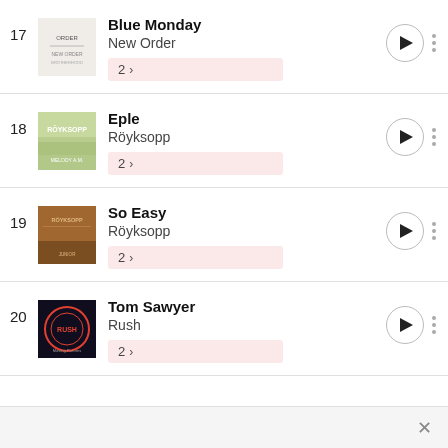17 Blue Monday - New Order
18 Eple - Röyksopp
19 So Easy - Röyksopp
20 Tom Sawyer - Rush